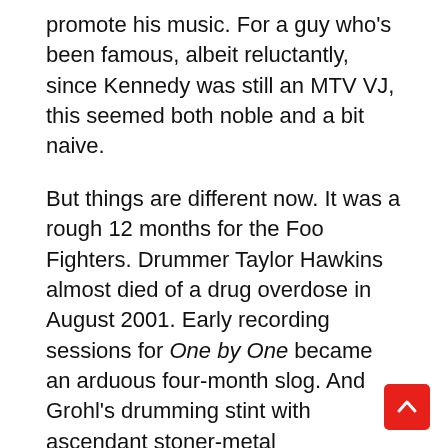promote his music. For a guy who's been famous, albeit reluctantly, since Kennedy was still an MTV VJ, this seemed both noble and a bit naive.
But things are different now. It was a rough 12 months for the Foo Fighters. Drummer Taylor Hawkins almost died of a drug overdose in August 2001. Early recording sessions for One by One became an arduous four-month slog. And Grohl's drumming stint with ascendant stoner-metal superheroes Queens of the Stone Age led many — including his bandmates — to wonder whether the Foos' 1999 album, There Is Nothing Left to Lose, would be their last. Then there's Grohl and Nirvana bassist Krist Novoselic's ongoing legal battle with Cobain's widow Courtney Love, over unreleased Nirvana tracks that may